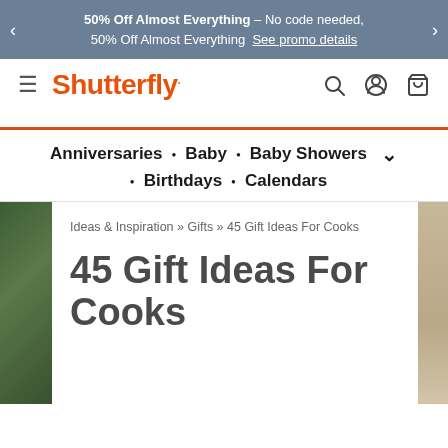50% Off Almost Everything – No code needed, 50% Off Almost Everything See promo details
[Figure (logo): Shutterfly logo with hamburger menu and navigation icons (search, account, cart)]
Anniversaries • Baby • Baby Showers • Birthdays • Calendars
Ideas & Inspiration » Gifts » 45 Gift Ideas For Cooks
45 Gift Ideas For Cooks